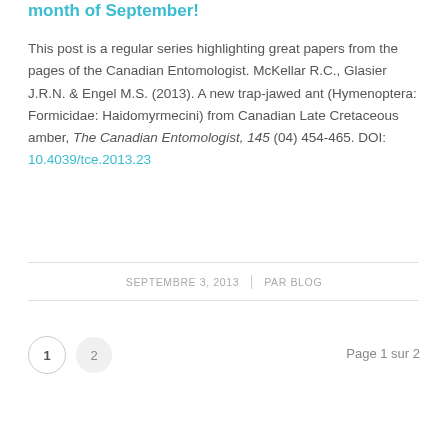month of September!
This post is a regular series highlighting great papers from the pages of the Canadian Entomologist. McKellar R.C., Glasier J.R.N. & Engel M.S. (2013). A new trap-jawed ant (Hymenoptera: Formicidae: Haidomyrmecini) from Canadian Late Cretaceous amber, The Canadian Entomologist, 145 (04) 454-465. DOI: 10.4039/tce.2013.23
SEPTEMBRE 3, 2013 | PAR BLOG
Page 1 sur 2